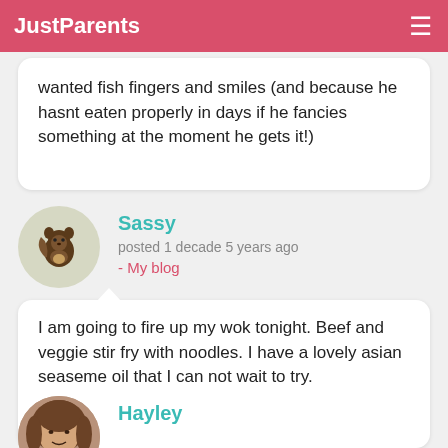JustParents
wanted fish fingers and smiles (and because he hasnt eaten properly in days if he fancies something at the moment he gets it!)
Sassy
posted 1 decade 5 years ago
- My blog
I am going to fire up my wok tonight. Beef and veggie stir fry with noodles. I have a lovely asian seaseme oil that I can not wait to try.
Hayley